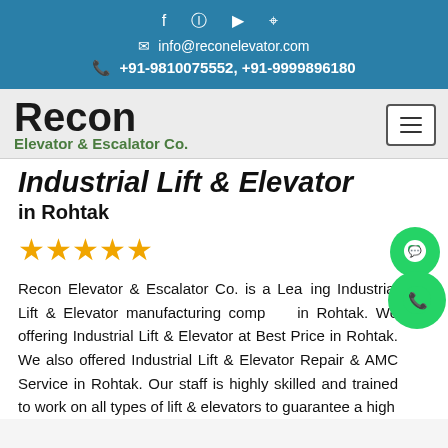info@reconelevator.com | +91-9810075552, +91-9999896180
Recon Elevator & Escalator Co.
Industrial Lift & Elevator in Rohtak
[Figure (other): Five golden/yellow star rating icons]
Recon Elevator & Escalator Co. is a Leading Industrial Lift & Elevator manufacturing company in Rohtak. We offering Industrial Lift & Elevator at Best Price in Rohtak. We also offered Industrial Lift & Elevator Repair & AMC Service in Rohtak. Our staff is highly skilled and trained to work on all types of lift & elevators to guarantee a high